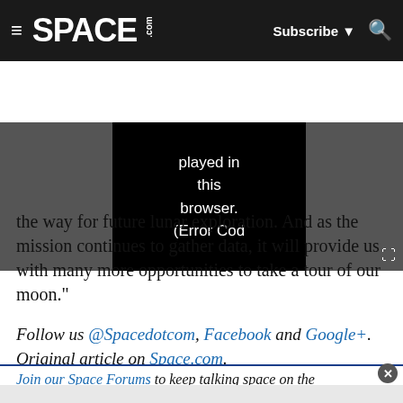SPACE.com — Subscribe | Search
[Figure (screenshot): Video player showing error message: 'played in this browser. (Error Cod']
the way for future lunar exploration. And as the mission continues to gather data, it will provide us with many more opportunities to take a tour of our moon."
Follow us @Spacedotcom, Facebook and Google+. Original article on Space.com.
Join our Space Forums to keep talking space on the